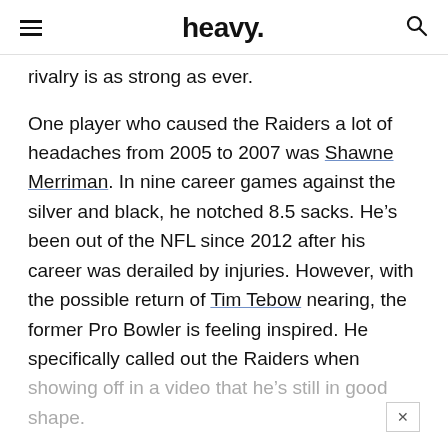heavy.
rivalry is as strong as ever.
One player who caused the Raiders a lot of headaches from 2005 to 2007 was Shawne Merriman. In nine career games against the silver and black, he notched 8.5 sacks. He’s been out of the NFL since 2012 after his career was derailed by injuries. However, with the possible return of Tim Tebow nearing, the former Pro Bowler is feeling inspired. He specifically called out the Raiders when showing off in a video that he’s still in good shape.